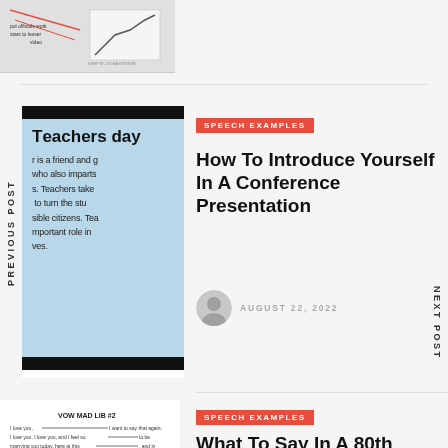[Figure (photo): Partial view of a whiteboard or paper with handwritten notes and a graph sketch]
PREVIOUS POST
[Figure (screenshot): Teachers day article card with blue background: 'Teachers day - A teacher is a friend and guide who also imparts knowledge. Teachers take efforts to turn the students into responsible citizens. Teachers play an important role in our lives.']
SPEECH EXAMPLES
How To Introduce Yourself In A Conference Presentation
AUGUST 22, 2022
NEXT POST
[Figure (screenshot): Vow Mad Lib #2 worksheet with fill-in-the-blank wedding vows text]
SPEECH EXAMPLES
What To Say In A 80th Birthday Speech
AUGUST 22, 2022